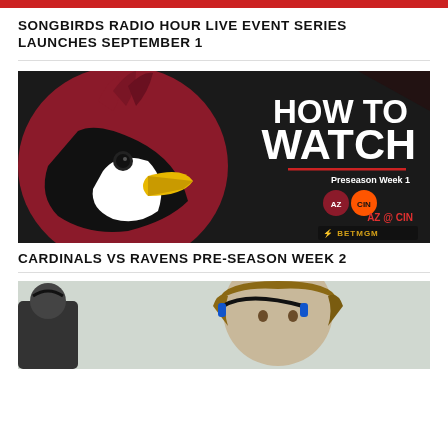SONGBIRDS RADIO HOUR LIVE EVENT SERIES LAUNCHES SEPTEMBER 1
[Figure (photo): Arizona Cardinals 'How To Watch' promotional graphic for Preseason Week 1, AZ @ CIN, with BetMGM sponsor logo on dark background]
CARDINALS VS RAVENS PRE-SEASON WEEK 2
[Figure (photo): Photo of a person wearing headphones/headset, appears to be a broadcaster or coach, partial view]